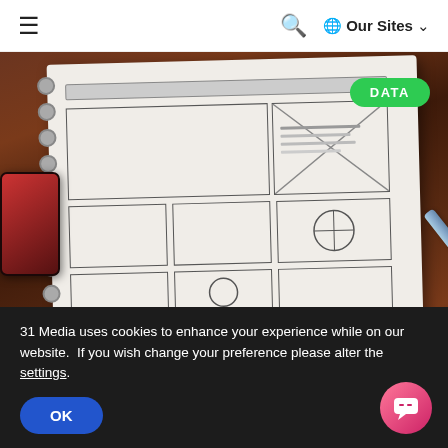≡  🔍  🌐 Our Sites ∨
[Figure (photo): A wireframe/UX design sketch on a spiral-bound notebook lying on a wooden desk, with a smartphone to the left and a pen to the right. A green 'DATA' badge appears in the upper right of the image.]
Form Filling and Design Process: The Importance of Partnering Automation with
31 Media uses cookies to enhance your experience while on our website.  If you wish change your preference please alter the settings.
OK